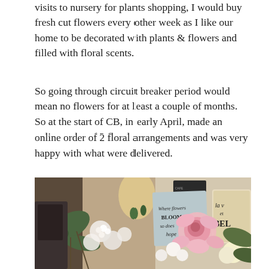visits to nursery for plants shopping, I would buy fresh cut flowers every other week as I like our home to be decorated with plants & flowers and filled with floral scents.
So going through circuit breaker period would mean no flowers for at least a couple of months. So at the start of CB, in early April, made an online order of 2 floral arrangements and was very happy with what were delivered.
[Figure (photo): A floral arrangement with pink roses, white flowers, and green leaves on a counter, with a handwritten card reading 'Where flowers BLOOM so does hope' and a sign partially visible on the right reading 'la v... BELL...']